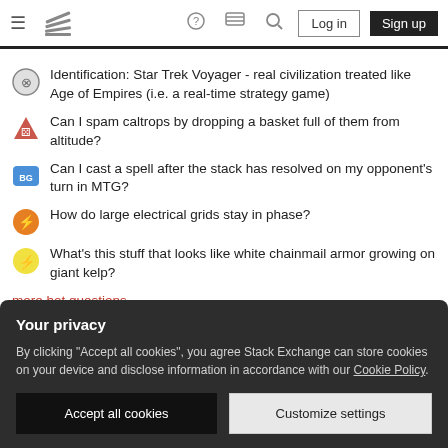Stack Exchange navigation bar with hamburger, logo, help, chat, search, Log in, Sign up
Identification: Star Trek Voyager - real civilization treated like Age of Empires (i.e. a real-time strategy game)
Can I spam caltrops by dropping a basket full of them from altitude?
Can I cast a spell after the stack has resolved on my opponent's turn in MTG?
How do large electrical grids stay in phase?
What's this stuff that looks like white chainmail armor growing on giant kelp?
more hot questions
Question feed
Your privacy
By clicking "Accept all cookies", you agree Stack Exchange can store cookies on your device and disclose information in accordance with our Cookie Policy.
Accept all cookies | Customize settings